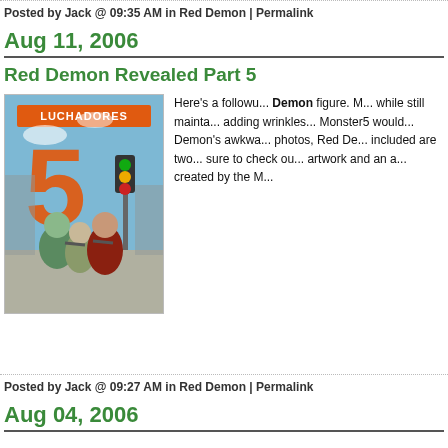Posted by Jack @ 09:35 AM in Red Demon | Permalink
Aug 11, 2006
Red Demon Revealed Part 5
[Figure (illustration): Luchadores 5 comic book cover showing wrestling characters on a city street]
Here's a followu... Demon figure. M... while still mainta... adding wrinkles ... Monster5 would... Demon's awkwa... photos, Red De... included are two... sure to check ou... artwork and an a... created by the M...
Posted by Jack @ 09:27 AM in Red Demon | Permalink
Aug 04, 2006